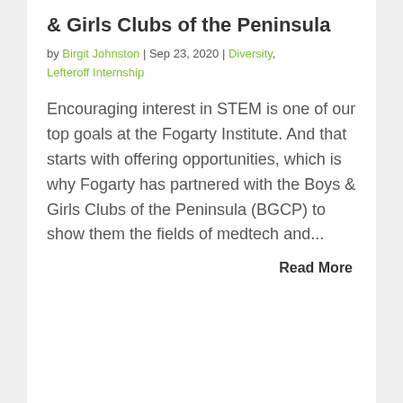& Girls Clubs of the Peninsula
by Birgit Johnston | Sep 23, 2020 | Diversity, Lefteroff Internship
Encouraging interest in STEM is one of our top goals at the Fogarty Institute. And that starts with offering opportunities, which is why Fogarty has partnered with the Boys & Girls Clubs of the Peninsula (BGCP) to show them the fields of medtech and...
Read More